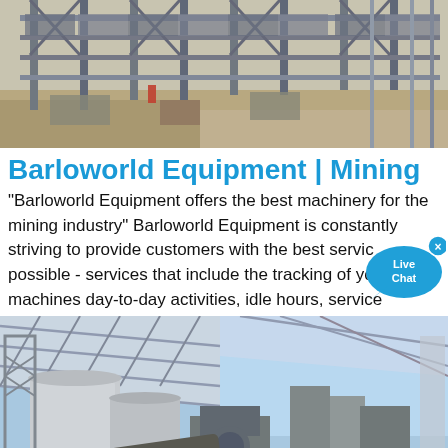[Figure (photo): Aerial view of a steel construction/mining facility with scaffolding and structural framework]
Barloworld Equipment | Mining
"Barloworld Equipment offers the best machinery for the mining industry" Barloworld Equipment is constantly striving to provide customers with the best service possible - services that include the tracking of your machines day-to-day activities, idle hours, service
[Figure (photo): Industrial mining equipment facility showing large metal silos, conveyor belts, and structural framework under a large roof]